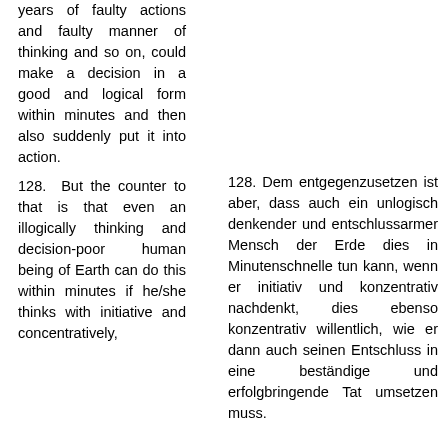years of faulty actions and faulty manner of thinking and so on, could make a decision in a good and logical form within minutes and then also suddenly put it into action.
128. But the counter to that is that even an illogically thinking and decision-poor human being of Earth can do this within minutes if he/she thinks with initiative and concentratively,
128. Dem entgegenzusetzen ist aber, dass auch ein unlogisch denkender und entschlussarmer Mensch der Erde dies in Minutenschnelle tun kann, wenn er initiativ und konzentrativ nachdenkt, dies ebenso konzentrativ willentlich, wie er dann auch seinen Entschluss in eine beständige und erfolgbringende Tat umsetzen muss.